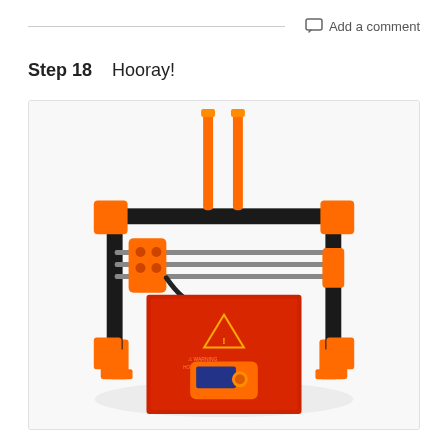Step 18    Hooray!
[Figure (photo): Assembled Prusa 3D printer (Prusa i3 MK3 or similar) photographed from the front on a white background. The printer has an orange and black frame with orange plastic printed parts at the corners and joints. Two orange vertical filament guide rods extend upward from the top frame. The print bed is red/orange with a warning triangle label. A control panel with LCD display and orange knob is at the front bottom center. Various metal rods, bearings, and cables are visible.]